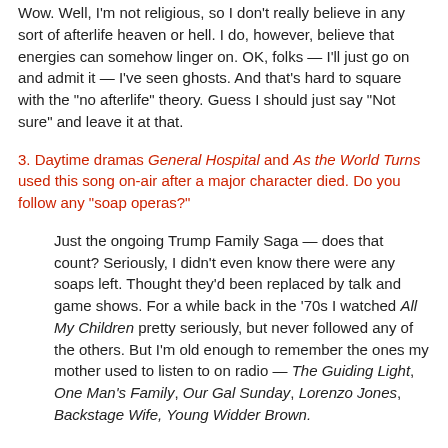Wow. Well, I'm not religious, so I don't really believe in any sort of afterlife heaven or hell. I do, however, believe that energies can somehow linger on. OK, folks — I'll just go on and admit it — I've seen ghosts. And that's hard to square with the "no afterlife" theory. Guess I should just say "Not sure" and leave it at that.
3. Daytime dramas General Hospital and As the World Turns used this song on-air after a major character died. Do you follow any "soap operas?"
Just the ongoing Trump Family Saga — does that count? Seriously, I didn't even know there were any soaps left. Thought they'd been replaced by talk and game shows. For a while back in the '70s I watched All My Children pretty seriously, but never followed any of the others. But I'm old enough to remember the ones my mother used to listen to on radio — The Guiding Light, One Man's Family, Our Gal Sunday, Lorenzo Jones, Backstage Wife, Young Widder Brown.